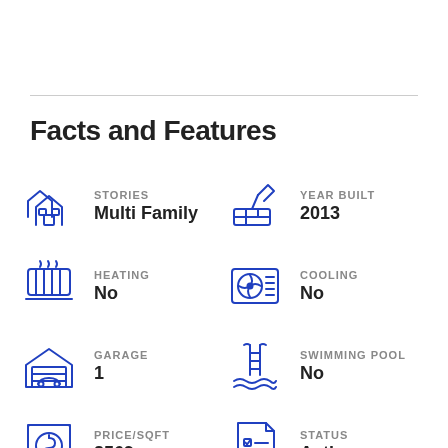Facts and Features
STORIES: Multi Family
YEAR BUILT: 2013
HEATING: No
COOLING: No
GARAGE: 1
SWIMMING POOL: No
PRICE/SQFT: 2569
STATUS: Active